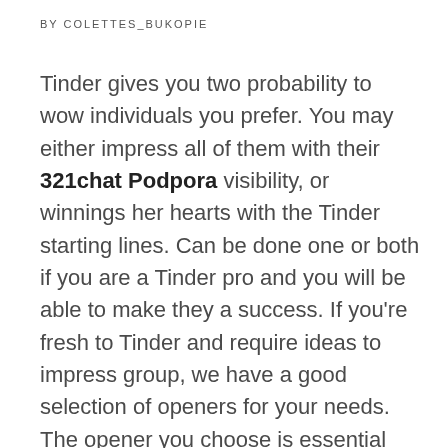BY COLETTES_BUKOPIE
Tinder gives you two probability to wow individuals you prefer. You may either impress all of them with their 321chat Podpora visibility, or winnings her hearts with the Tinder starting lines. Can be done one or both if you are a Tinder pro and you will be able to make they a success. If you're fresh to Tinder and require ideas to impress group, we have a good selection of openers for your needs. The opener you choose is essential since it will determine in the event that other